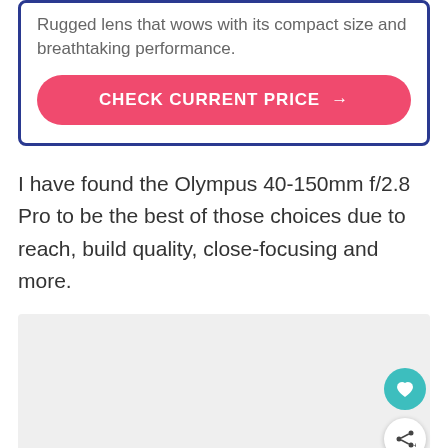Rugged lens that wows with its compact size and breathtaking performance.
CHECK CURRENT PRICE →
I have found the Olympus 40-150mm f/2.8 Pro to be the best of those choices due to reach, build quality, close-focusing and more.
[Figure (photo): Image placeholder area, light gray box representing an embedded image or product photo]